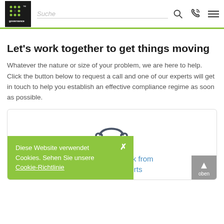IT Governance — Suche (search bar), phone icon, menu icon
Let's work together to get things moving
Whatever the nature or size of your problem, we are here to help. Click the button below to request a call and one of our experts will get in touch to help you establish an effective compliance regime as soon as possible.
[Figure (illustration): Headset/phone operator icon in a rounded card area, with text 'Request a call back from one of our experts' in blue below it. A green cookie consent banner overlays the lower left with text 'Diese Website verwendet Cookies. Sehen Sie unsere Cookie-Richtlinie' and a close X button. A grey scroll-to-top button is at lower right with an up arrow and 'oben'.]